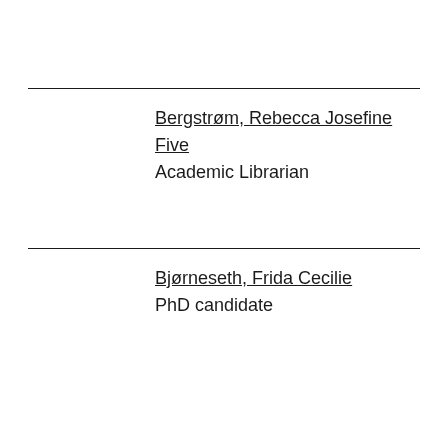Bergstrøm, Rebecca Josefine
Five
Academic Librarian
Bjørneseth, Frida Cecilie
PhD candidate